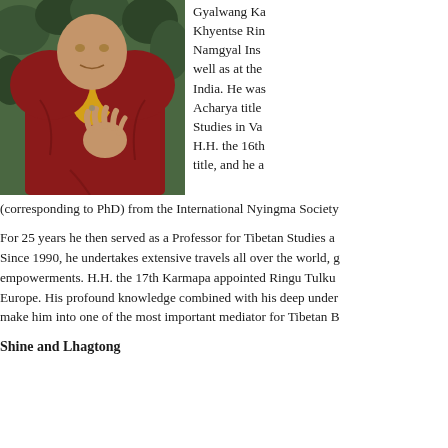[Figure (photo): A Buddhist monk in red and yellow robes, gesturing with one hand raised, photographed outdoors with green foliage in the background.]
Gyalwang Ka... Khyentse Rin... Namgyal Ins... well as at the... India. He was... Acharya title... Studies in Va... H.H. the 16th... title, and he a... (corresponding to PhD) from the International Nyingma Society...
For 25 years he then served as a Professor for Tibetan Studies a... Since 1990, he undertakes extensive travels all over the world, g... empowerments. H.H. the 17th Karmapa appointed Ringu Tulku... Europe. His profound knowledge combined with his deep under... make him into one of the most important mediator for Tibetan B...
Shine and Lhagtong